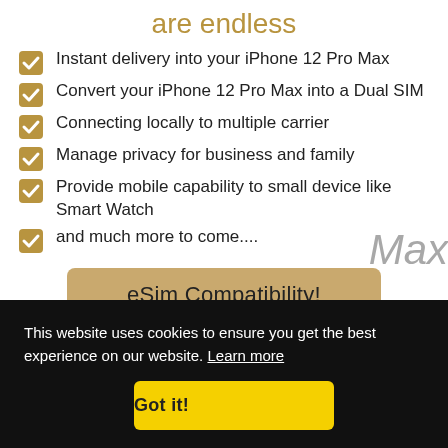are endless
Instant delivery into your iPhone 12 Pro Max
Convert your iPhone 12 Pro Max into a Dual SIM
Connecting locally to multiple carrier
Manage privacy for business and family
Provide mobile capability to small device like Smart Watch
and much more to come....
eSim Compatibility!
This website uses cookies to ensure you get the best experience on our website. Learn more
Got it!
Max
eSIM compatibility